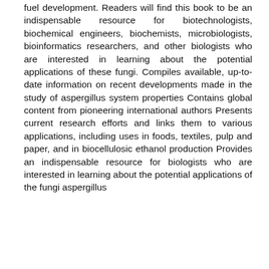fuel development. Readers will find this book to be an indispensable resource for biotechnologists, biochemical engineers, biochemists, microbiologists, bioinformatics researchers, and other biologists who are interested in learning about the potential applications of these fungi. Compiles available, up-to-date information on recent developments made in the study of aspergillus system properties Contains global content from pioneering international authors Presents current research efforts and links them to various applications, including uses in foods, textiles, pulp and paper, and in biocellulosic ethanol production Provides an indispensable resource for biologists who are interested in learning about the potential applications of the fungi aspergillus